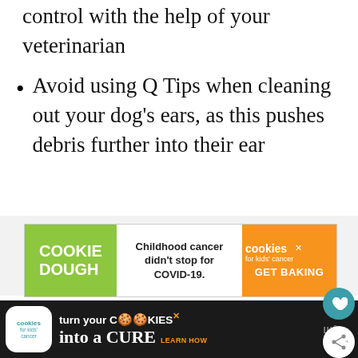control with the help of your veterinarian
Avoid using Q Tips when cleaning out your dog's ears, as this pushes debris further into their ear
[Figure (screenshot): Cookie Dough for kids cancer advertisement banner: green section with 'COOKIE DOUGH' text, white middle with 'Childhood cancer didn't stop for COVID-19.', orange right section with cookies for kids cancer logo and 'GET BAKING']
[Figure (screenshot): Bottom black banner ad: cookies for kids cancer logo, 'turn your COOKIES into a CURE LEARN HOW' text, and a TV/streaming icon on the right]